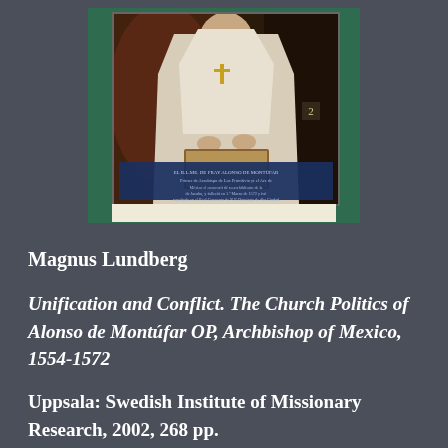[Figure (photo): Book cover image showing a painting of Alonso de Montúfar in religious vestments (white robes with a cross), seated with a book, with an inscription plaque at the bottom of the portrait. The cover has a green background. A cream-colored strip appears at the bottom of the cover.]
Magnus Lundberg
Unification and Conflict. The Church Politics of Alonso de Montúfar OP, Archbishop of Mexico, 1554-1572
Uppsala: Swedish Institute of Missionary Research, 2002, 268 pp.